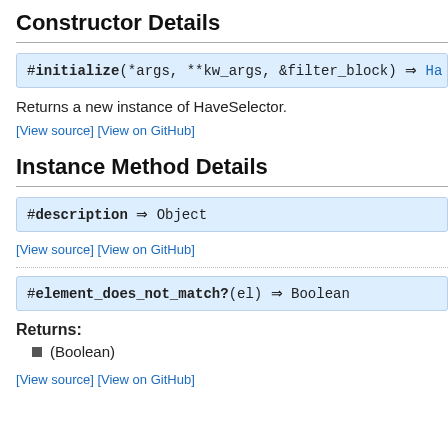Constructor Details
#initialize(*args, **kw_args, &filter_block) ⇒ Ha
Returns a new instance of HaveSelector.
[View source] [View on GitHub]
Instance Method Details
#description ⇒ Object
[View source] [View on GitHub]
#element_does_not_match?(el) ⇒ Boolean
Returns:
(Boolean)
[View source] [View on GitHub]